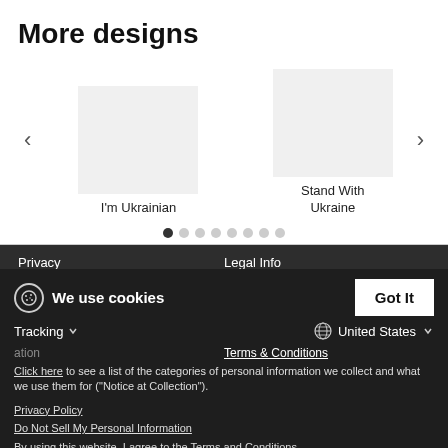More designs
[Figure (screenshot): Carousel showing two product designs: 'I'm Ukrainian' and 'Stand With Ukraine', with navigation arrows and pagination dots]
I'm Ukrainian
Stand With Ukraine
Privacy | Legal Info | Tracking | United States | Click here to see a list of the categories of personal information we collect and what we use them for ("Notice at Collection"). | Privacy Policy | Do Not Sell My Personal Information | By using this website, I agree to the Terms and Conditions | Terms & Conditions | Shipping costs and shipping times
We use cookies
Click here to see a list of the categories of personal information we collect and what we use them for ("Notice at Collection").
Privacy Policy
Do Not Sell My Personal Information
By using this website, I agree to the Terms and Conditions